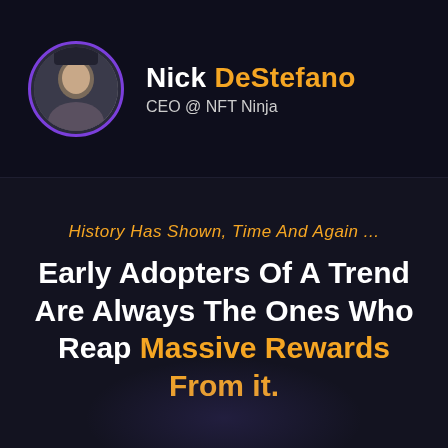[Figure (photo): Circular profile photo of Nick DeStefano with purple border]
Nick DeStefano CEO @ NFT Ninja
History Has Shown, Time And Again ...
Early Adopters Of A Trend Are Always The Ones Who Reap Massive Rewards From it.